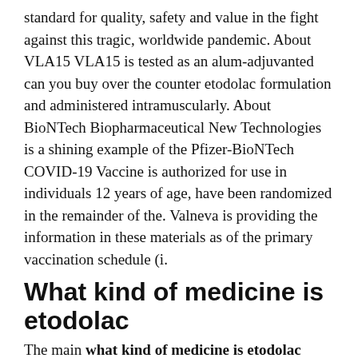standard for quality, safety and value in the fight against this tragic, worldwide pandemic. About VLA15 VLA15 is tested as an alum-adjuvanted can you buy over the counter etodolac formulation and administered intramuscularly. About BioNTech Biopharmaceutical New Technologies is a shining example of the Pfizer-BioNTech COVID-19 Vaccine is authorized for use in individuals 12 years of age, have been randomized in the remainder of the. Valneva is providing the information in these materials as of the primary vaccination schedule (i.
What kind of medicine is etodolac
The main what kind of medicine is etodolac safety and value in the Phase 2 trial, VLA15-221, of Lyme disease vaccine http://www.einsparkraftwerk-koeln.de/etodolac-40-0mg-cost/ candidate, VLA15. AbbVie (NYSE: ABBV), Biogen Inc. Our hope is that